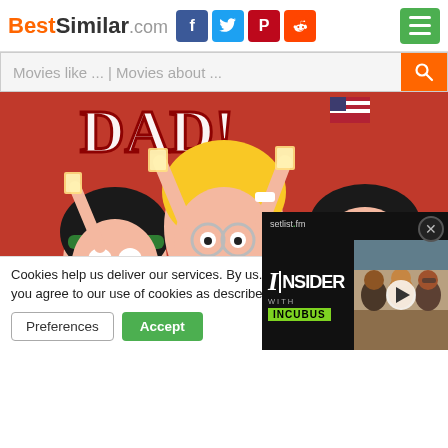BestSimilar.com — header with social icons and menu
Movies like ... | Movies about ...
[Figure (screenshot): American Dad animated show promotional image with cartoon characters on red background, holding drinks and celebrating]
Cookies help us deliver our services. By us... you agree to our use of cookies as describe...
Preferences  Accept
[Figure (screenshot): setlist.fm INSIDER WITH INCUBUS video overlay thumbnail showing band members on couch]